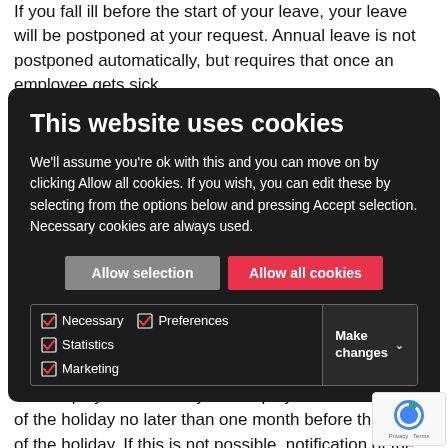If you fall ill before the start of your leave, your leave will be postponed at your request. Annual leave is not postponed automatically, but requires that once an employee gets sick
[Figure (screenshot): Cookie consent modal overlay on a dark background. Title: 'This website uses cookies'. Body text: 'We'll assume you're ok with this and you can move on by clicking Allow all cookies. If you wish, you can edit these by selecting from the options below and pressing Accept selection. Necessary cookies are always used.' Two buttons: 'Allow selection' (grey) and 'Allow all cookies' (pink/red). Checkboxes for Necessary, Preferences, Statistics, Marketing all checked. A 'Make changes' dropdown on the right.]
winter holiday should be granted on the winter holiday period which starts on 1 October.
The employer must notify the employee of the timing of the holiday no later than one month before the start of the holiday. If this is not possible, notification of the timing of the holiday must be given at least two weeks before the start